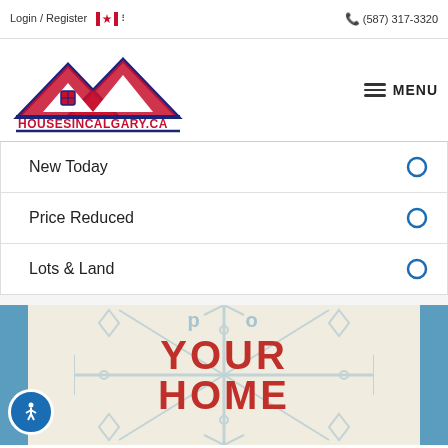Login / Register  (587) 317-3320
[Figure (logo): HousesinCalgary.ca logo with house/mountain outline in navy blue and red roof panels, red text HOUSESINCALGARY.CA]
New Today
Price Reduced
Lots & Land
[Figure (photo): Winter real estate promotional banner showing 'YOUR HOME' text in red on snowflake background with teal side panels]